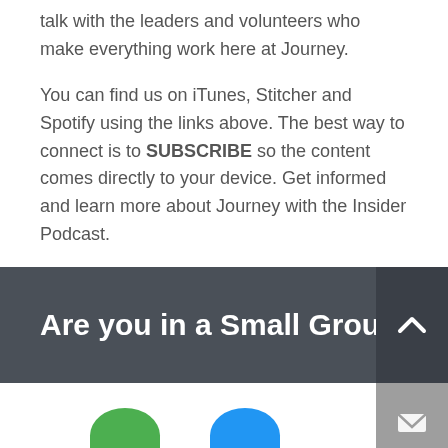talk with the leaders and volunteers who make everything work here at Journey.
You can find us on iTunes, Stitcher and Spotify using the links above. The best way to connect is to SUBSCRIBE so the content comes directly to your device. Get informed and learn more about Journey with the Insider Podcast.
Are you in a Small Group?
[Figure (other): Dark banner with upward chevron arrow button on the right side]
[Figure (other): Bottom strip with grey mail envelope button and partially visible green and blue circles at the bottom]